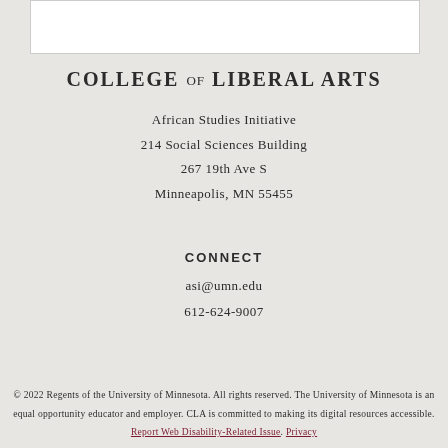[Figure (logo): College of Liberal Arts logo text in serif uppercase]
African Studies Initiative
214 Social Sciences Building
267 19th Ave S
Minneapolis, MN 55455
CONNECT
asi@umn.edu
612-624-9007
© 2022 Regents of the University of Minnesota. All rights reserved. The University of Minnesota is an equal opportunity educator and employer. CLA is committed to making its digital resources accessible. Report Web Disability-Related Issue. Privacy